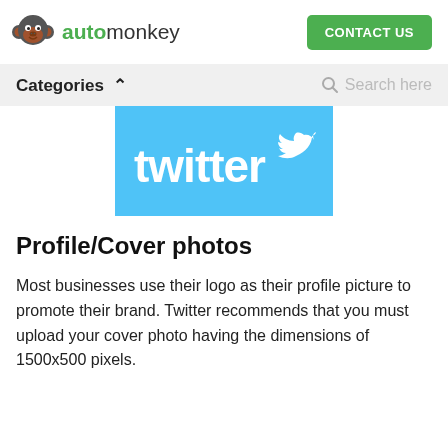automonkey | CONTACT US
[Figure (logo): Automonkey logo with monkey icon and green 'automonkey' text, plus green CONTACT US button]
[Figure (logo): Twitter logo on blue background with white 'twitter' text and bird icon]
Profile/Cover photos
Most businesses use their logo as their profile picture to promote their brand. Twitter recommends that you must upload your cover photo having the dimensions of 1500x500 pixels.